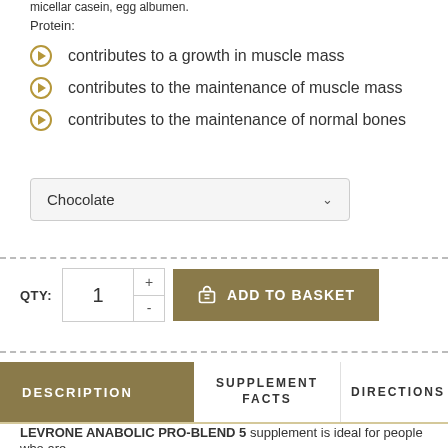micellar casein, egg albumen.
Protein:
contributes to a growth in muscle mass
contributes to the maintenance of muscle mass
contributes to the maintenance of normal bones
Chocolate (dropdown)
QTY: 1  ADD TO BASKET
DESCRIPTION | SUPPLEMENT FACTS | DIRECTIONS
LEVRONE ANABOLIC PRO-BLEND 5 supplement is ideal for people who are looking for...